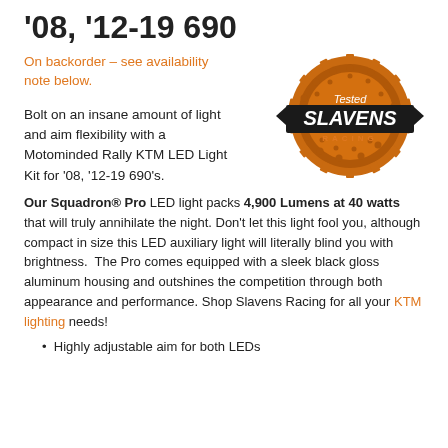'08, '12-19 690
On backorder – see availability note below.
[Figure (logo): Tested Slavens Racing orange gear logo with text 'SLAVENS RACING']
Bolt on an insane amount of light and aim flexibility with a Motominded Rally KTM LED Light Kit for '08, '12-19 690's.
Our Squadron® Pro LED light packs 4,900 Lumens at 40 watts that will truly annihilate the night. Don't let this light fool you, although compact in size this LED auxiliary light will literally blind you with brightness.  The Pro comes equipped with a sleek black gloss aluminum housing and outshines the competition through both appearance and performance. Shop Slavens Racing for all your KTM lighting needs!
Highly adjustable aim for both LEDs